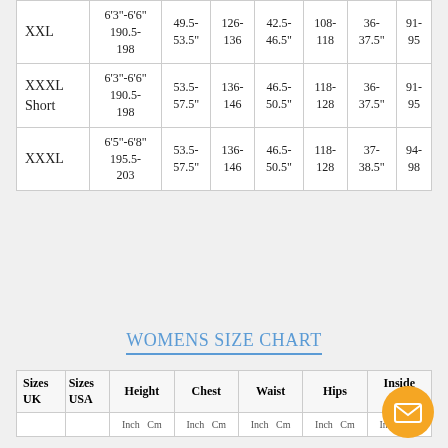| Size | Height | Chest | Waist | Hips | Inside Leg |
| --- | --- | --- | --- | --- | --- |
| XXL | 6'3"-6'6"
190.5-198 | 49.5-53.5" | 126-136 | 42.5-46.5" | 108-118 | 36-37.5" | 91-95 |
| XXXL Short | 6'3"-6'6"
190.5-198 | 53.5-57.5" | 136-146 | 46.5-50.5" | 118-128 | 36-37.5" | 91-95 |
| XXXL | 6'5"-6'8"
195.5-203 | 53.5-57.5" | 136-146 | 46.5-50.5" | 118-128 | 37-38.5" | 94-98 |
WOMENS SIZE CHART
| Sizes UK | Sizes USA | Height | Chest | Waist | Hips | Inside Leg |
| --- | --- | --- | --- | --- | --- | --- |
| Inch Cm | Inch Cm | Inch Cm | Inch Cm | Inch Cm |